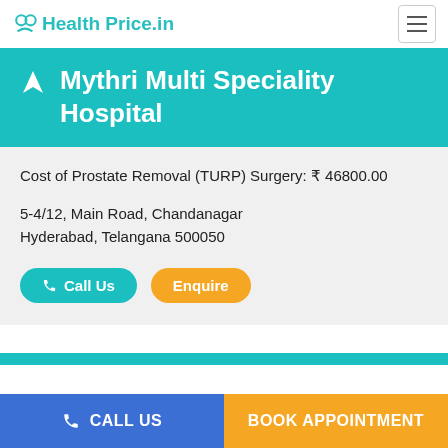Health Price.in
Mythri Multi Speciality Hospital
Cost of Prostate Removal (TURP) Surgery: ₹ 46800.00
5-4/12, Main Road, Chandanagar Hyderabad, Telangana 500050
Call Us   Enquire
CALL US   BOOK APPOINTMENT